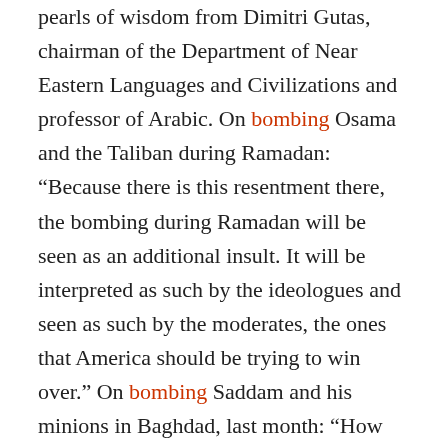pearls of wisdom from Dimitri Gutas, chairman of the Department of Near Eastern Languages and Civilizations and professor of Arabic. On bombing Osama and the Taliban during Ramadan: "Because there is this resentment there, the bombing during Ramadan will be seen as an additional insult. It will be interpreted as such by the ideologues and seen as such by the moderates, the ones that America should be trying to win over." On bombing Saddam and his minions in Baghdad, last month: "How would we feel now if Rome was being bombarded and was in imminent danger of being destroyed? Basically this is the kind of resonance that Baghdad has in the Islamic world. It is going to be a huge wound to the soul of over a billion people on this earth."